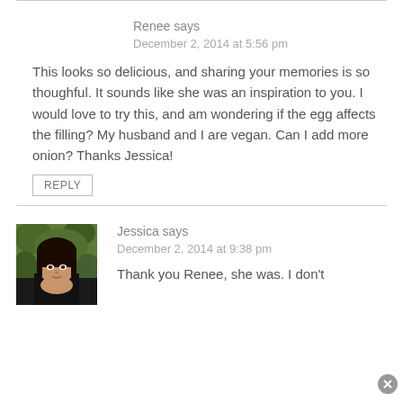Renee says
December 2, 2014 at 5:56 pm
This looks so delicious, and sharing your memories is so thoughful. It sounds like she was an inspiration to you. I would love to try this, and am wondering if the egg affects the filling? My husband and I are vegan. Can I add more onion? Thanks Jessica!
REPLY
[Figure (photo): Avatar photo of Jessica, a woman with dark hair and bangs, photographed outdoors against green foliage]
Jessica says
December 2, 2014 at 9:38 pm
Thank you Renee, she was. I don't